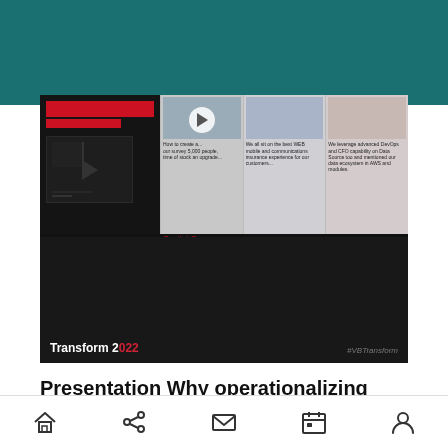[Figure (screenshot): Video thumbnail showing a presentation slide with Transform 2022 branding and Capital One content panels, featuring a play button overlay]
Presentation Why operationalizing data mesh is critical for operating in the cloud_
For enterprises, this vulnerability, if left unpatched, could leave Windows servers vulnerable to compromise and enable a hacker to breach
Navigation bar with home, share, mail, calendar, and profile icons